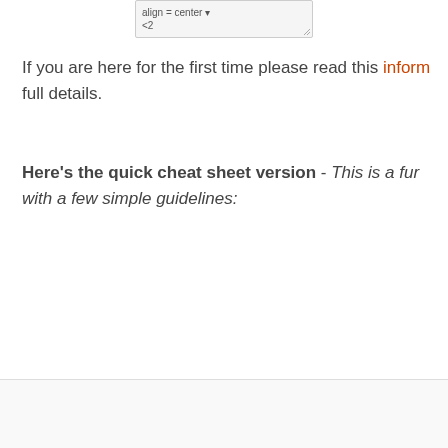[Figure (screenshot): Partial screenshot of a text editor or form field showing 'align = center' and partial '<2' text with a resize handle]
If you are here for the first time please read this inform... full details.
Here's the quick cheat sheet version - This is a fun... with a few simple guidelines: